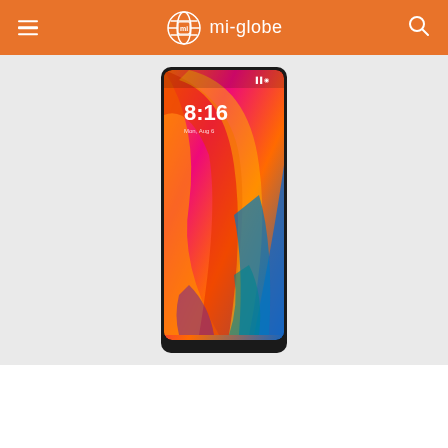mi-globe
[Figure (photo): Xiaomi Mi Mix 2S smartphone with edge-to-edge display showing a colorful swirl wallpaper with time 8:16, dark frame, on a light grey background]